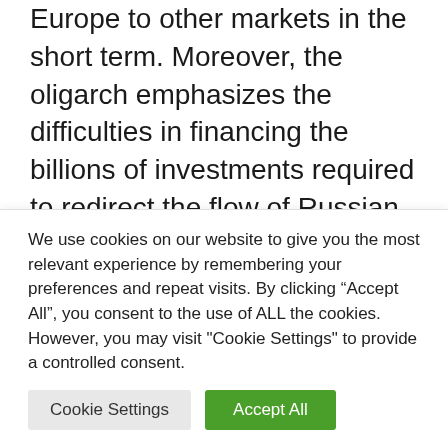Europe to other markets in the short term. Moreover, the oligarch emphasizes the difficulties in financing the billions of investments required to redirect the flow of Russian oil to other markets, the years necessary for this, declaring permanent damage to the Russian economy.
In the short term, the impact on Europeans will depend on the ability to find suitable
We use cookies on our website to give you the most relevant experience by remembering your preferences and repeat visits. By clicking “Accept All”, you consent to the use of ALL the cookies. However, you may visit "Cookie Settings" to provide a controlled consent.